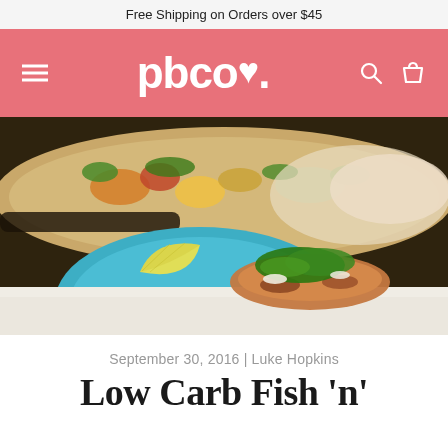Free Shipping on Orders over $45
[Figure (logo): pbco. logo in white text on pink/salmon background header with hamburger menu icon on left and search and cart icons on right]
[Figure (photo): Food photography showing a blue/teal plate with a piece of seasoned fish garnished with fresh herbs and a lemon wedge, with a colorful vegetable salsa flatbread in the background]
September 30, 2016 | Luke Hopkins
Low Carb Fish 'n'